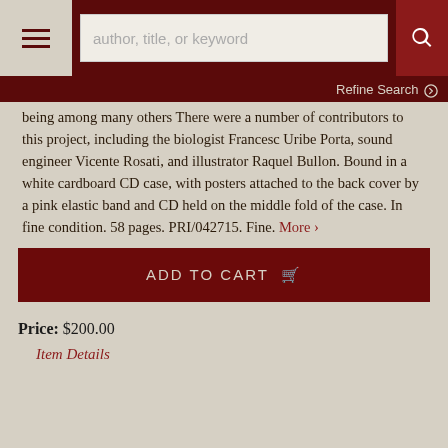author, title, or keyword | search | Refine Search
being among many others There were a number of contributors to this project, including the biologist Francesc Uribe Porta, sound engineer Vicente Rosati, and illustrator Raquel Bullon. Bound in a white cardboard CD case, with posters attached to the back cover by a pink elastic band and CD held on the middle fold of the case. In fine condition. 58 pages. PRI/042715. Fine. More
ADD TO CART
Price: $200.00
Item Details